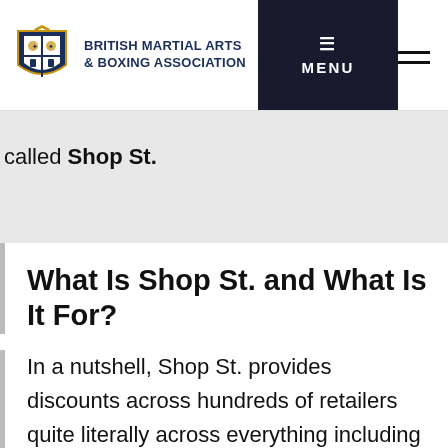BRITISH MARTIAL ARTS & BOXING ASSOCIATION | MENU
called Shop St.
What Is Shop St. and What Is It For?
In a nutshell, Shop St. provides discounts across hundreds of retailers quite literally across everything including Technology, Travel, Entertainment, Shopping, Fashion, Takeaway, Restaurants and more. Major